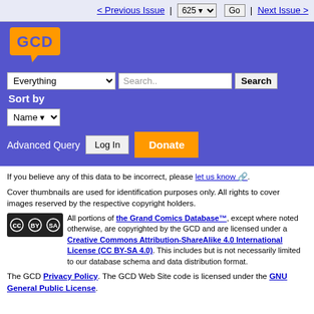< Previous Issue | 625 v  Go | Next Issue >
[Figure (logo): GCD (Grand Comics Database) logo — orange speech bubble with GCD text on blue background]
Everything [dropdown] Search.. [input] Search  Sort by Name [dropdown]  Advanced Query  Log In  Donate
If you believe any of this data to be incorrect, please let us know.
Cover thumbnails are used for identification purposes only. All rights to cover images reserved by the respective copyright holders.
[Figure (logo): Creative Commons BY-SA license badge]
All portions of the Grand Comics Database™, except where noted otherwise, are copyrighted by the GCD and are licensed under a Creative Commons Attribution-ShareAlike 4.0 International License (CC BY-SA 4.0). This includes but is not necessarily limited to our database schema and data distribution format.
The GCD Privacy Policy. The GCD Web Site code is licensed under the GNU General Public License.